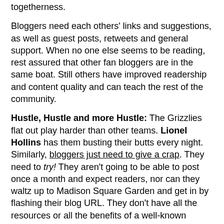togetherness.
Bloggers need each others' links and suggestions, as well as guest posts, retweets and general support. When no one else seems to be reading, rest assured that other fan bloggers are in the same boat. Still others have improved readership and content quality and can teach the rest of the community.
Hustle, Hustle and more Hustle: The Grizzlies flat out play harder than other teams. Lionel Hollins has them busting their butts every night. Similarly, bloggers just need to give a crap. They need to try! They aren't going to be able to post once a month and expect readers, nor can they waltz up to Madison Square Garden and get in by flashing their blog URL. They don't have all the resources or all the benefits of a well-known brand...so they need to out-hustle them.
Who from the NBA do you most associate with your blog and your style?
jay_zo at 3:57 PM   No comments: